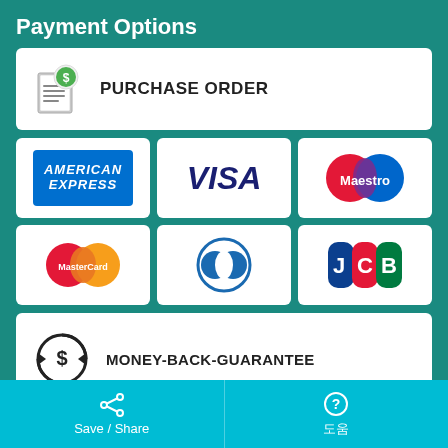Payment Options
[Figure (infographic): Purchase Order button with document-and-dollar-sign icon and text PURCHASE ORDER]
[Figure (infographic): Payment card logos: American Express, Visa, Maestro, MasterCard, Diners Club, JCB]
[Figure (infographic): Money-Back-Guarantee badge with circular dollar-sign icon and text MONEY-BACK-GUARANTEE]
????
antibodies-online Inc.
Jones Boulevard 321
Save / Share    도움